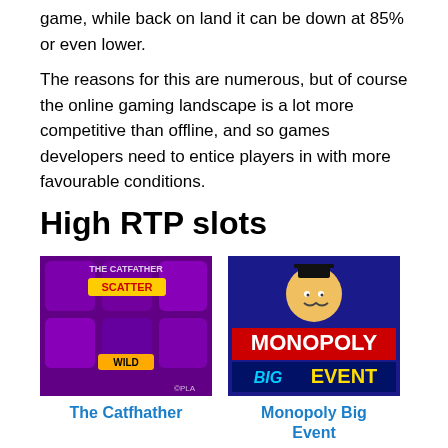game, while back on land it can be down at 85% or even lower.
The reasons for this are numerous, but of course the online gaming landscape is a lot more competitive than offline, and so games developers need to entice players in with more favourable conditions.
High RTP slots
[Figure (photo): Screenshot of The Catfhather slot game showing purple background with cat characters, SCATTER and WILD labels]
The Catfhather
[Figure (photo): Monopoly Big Event slot game logo showing Monopoly man with top hat on blue background with red and yellow text]
Monopoly Big Event
[Figure (photo): Zombies slot game screenshot showing dark background with playing card symbols K 10 J]
[Figure (photo): Card-themed slot game screenshot showing green background with playing card suits and symbols]